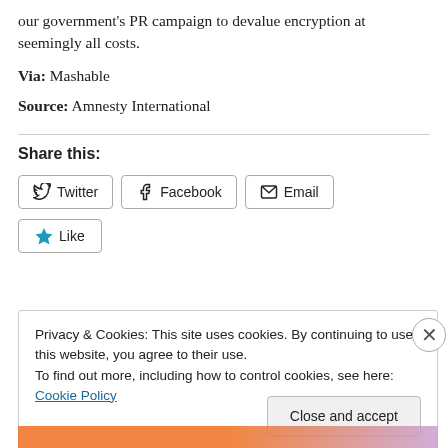our government's PR campaign to devalue encryption at seemingly all costs.
Via: Mashable
Source: Amnesty International
Share this:
Twitter  Facebook  Email
Like
Privacy & Cookies: This site uses cookies. By continuing to use this website, you agree to their use. To find out more, including how to control cookies, see here: Cookie Policy
Close and accept